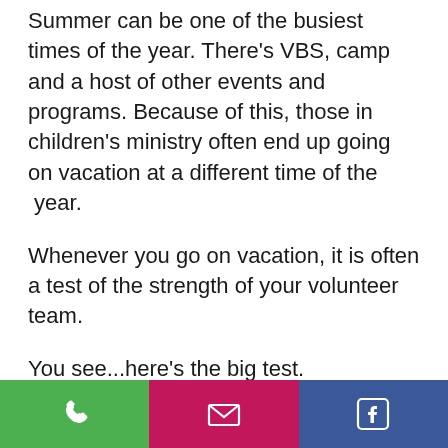Summer can be one of the busiest times of the year.  There's VBS, camp and a host of other events and programs.  Because of this, those in children's ministry often end up going on vacation at a different time of the  year.
Whenever you go on vacation, it is often a test of the strength of your volunteer team.
You see...here's the big test.
Can you go on vacation without everything falling apart?  Or if you got sick during a big event, could it happen without you there?
[Figure (infographic): Bottom navigation bar with three icons: phone (green), email/envelope (magenta/pink), Facebook (dark blue)]